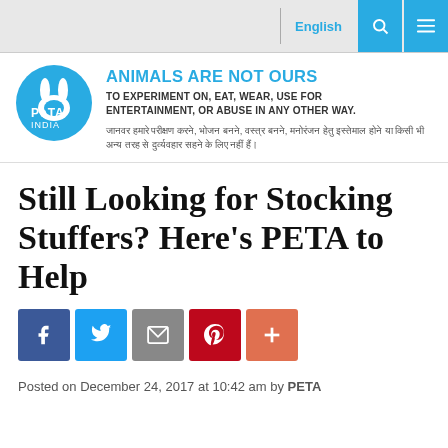English
[Figure (logo): PETA India circular logo in blue]
ANIMALS ARE NOT OURS TO EXPERIMENT ON, EAT, WEAR, USE FOR ENTERTAINMENT, OR ABUSE IN ANY OTHER WAY.
जानवर हमारे परीक्षण करने, भोजन बनने, वस्त्र बनने, मनोरंजन हेतु इस्तेमाल होने या किसी भी अन्य तरह से दुर्व्यवहार सहने के लिए नहीं हैं।
Still Looking for Stocking Stuffers? Here's PETA to Help
[Figure (infographic): Social share buttons: Facebook, Twitter, Email, Pinterest, Plus]
Posted on December 24, 2017 at 10:42 am by PETA